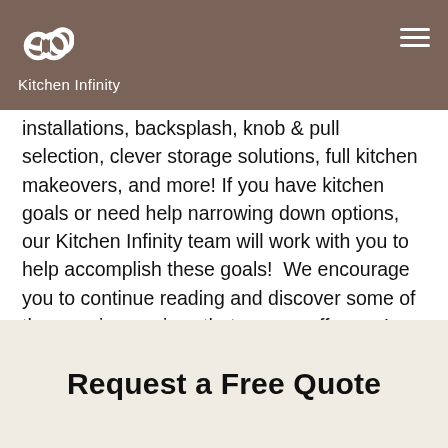Kitchen Infinity
installations, backsplash, knob & pull selection, clever storage solutions, full kitchen makeovers, and more! If you have kitchen goals or need help narrowing down options, our Kitchen Infinity team will work with you to help accomplish these goals!  We encourage you to continue reading and discover some of the premier services that we can offer you! And schedule a free consultation.... because why not?! It's FREE
Request a Free Quote